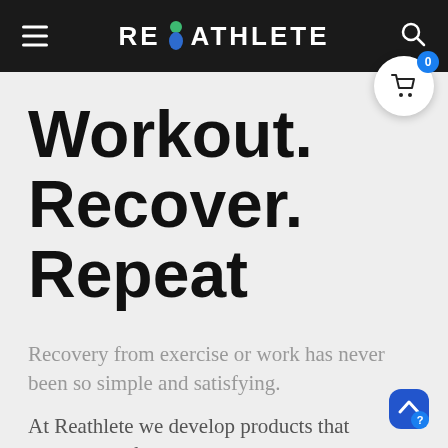REATHLETE
Workout.
Recover.
Repeat
Recovery from exercise or work has never been so simple and satisfying.
At Reathlete we develop products that help people feel better by relieving pain, enhancing recovery